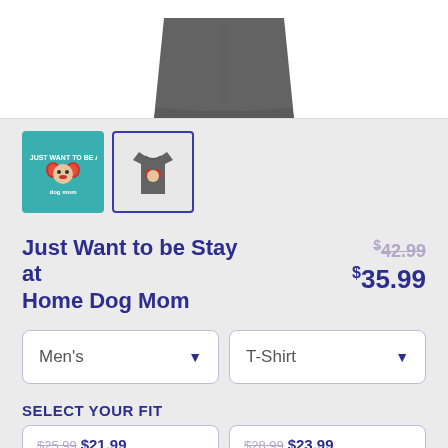[Figure (photo): Gray t-shirt on white background, partially cropped showing bottom portion of shirt]
[Figure (photo): Two product thumbnails: first is teal background with dog mom design, second is gray t-shirt on light background with dark border]
Just Want to be Stay at Home Dog Mom
$42.99 $35.99
Men's (dropdown) | T-Shirt (dropdown)
SELECT YOUR FIT
$25.99 $21.99 Regular
$28.99 $23.99 Extra Soft